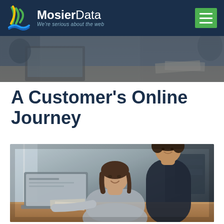MosierData — We're serious about the web
[Figure (photo): Photo of people working at a desk with laptops and papers, cropped top strip]
A Customer's Online Journey
[Figure (photo): Photo of a woman sitting at a laptop being helped by a man standing behind her, in a bright workspace]